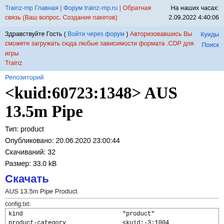Trainz-mp Главная | Форум trainz-mp.ru | Обратная связь (Ваш вопрос, Создание пакетов) | На наших часах: 2.09.2022 4:40:06
Здравствуйте Гость ( Войти через форум ) Авторизовавшись Вы сможете загружать сюда любые зависимости формата .CDP для игры Trainz | Куиды | Поиск
Репозиторий
<kuid:60723:1348> AUS 13.5m Pipe
Тип: product
Опубликовано: 20.06.2020 23:00:44
Скачиваний: 32
Размер: 33.0 kB
Скачать
AUS 13.5m Pipe Product
config.txt:
| key | value |
| --- | --- |
| kind | "product" |
| product-category | <kuid:-3:1004 |
| instance-type | "instance" |
| icon-texture | "icon_texture |
| mass | 3000 |